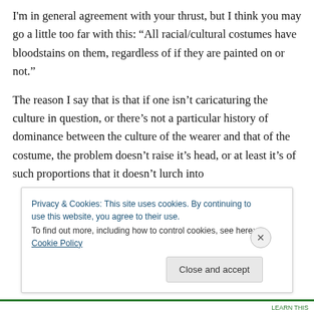I'm in general agreement with your thrust, but I think you may go a little too far with this: “All racial/cultural costumes have bloodstains on them, regardless of if they are painted on or not.”

The reason I say that is that if one isn’t caricaturing the culture in question, or there’s not a particular history of dominance between the culture of the wearer and that of the costume, the problem doesn’t raise it’s head, or at least it’s of such proportions that it doesn’t lurch into
Privacy & Cookies: This site uses cookies. By continuing to use this website, you agree to their use.
To find out more, including how to control cookies, see here: Cookie Policy

Close and accept